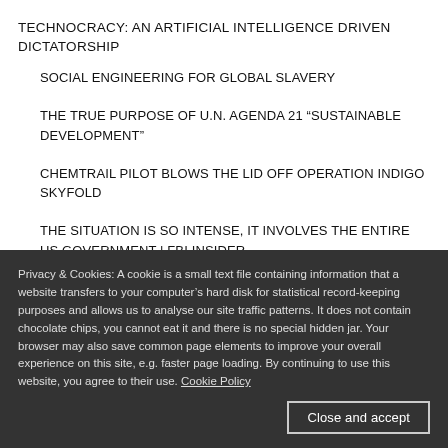TECHNOCRACY: AN ARTIFICIAL INTELLIGENCE DRIVEN DICTATORSHIP
SOCIAL ENGINEERING FOR GLOBAL SLAVERY
THE TRUE PURPOSE OF U.N. AGENDA 21 “SUSTAINABLE DEVELOPMENT”
CHEMTRAIL PILOT BLOWS THE LID OFF OPERATION INDIGO SKYFOLD
THE SITUATION IS SO INTENSE, IT INVOLVES THE ENTIRE US GOVERNMENT | FBI INSIDER
Privacy & Cookies: A cookie is a small text file containing information that a website transfers to your computer’s hard disk for statistical record-keeping purposes and allows us to analyse our site traffic patterns. It does not contain chocolate chips, you cannot eat it and there is no special hidden jar. Your browser may also save common page elements to improve your overall experience on this site, e.g. faster page loading. By continuing to use this website, you agree to their use. Cookie Policy
Close and accept